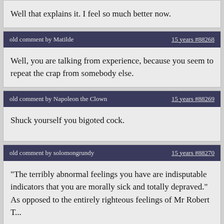Well that explains it. I feel so much better now.
old comment by Matilde   15 years #88268
Well, you are talking from experience, because you seem to repeat the crap from somebody else.
old comment by Napoleon the Clown   15 years #88269
Shuck yourself you bigoted cock.
old comment by solomongrundy   15 years #88270
"The terribly abnormal feelings you have are indisputable indicators that you are morally sick and totally depraved." As opposed to the entirely righteous feelings of Mr Robert T...